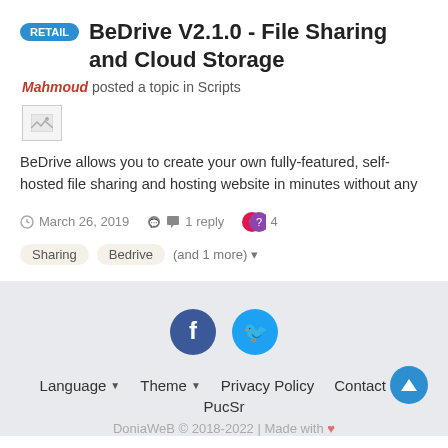RETAIL  BeDrive V2.1.0 - File Sharing and Cloud Storage
Mahmoud posted a topic in Scripts
[Figure (illustration): Broken image placeholder icon]
BeDrive allows you to create your own fully-featured, self-hosted file sharing and hosting website in minutes without any
March 26, 2019   1 reply   4
Sharing   Bedrive   (and 1 more)
[Figure (other): Facebook and Twitter social media icons]
Language  Theme  Privacy Policy  Contact Us  PucSr  DoniaWeB © 2018-2022 | Made with ♥